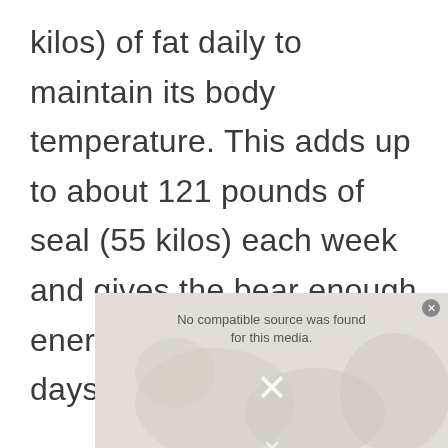kilos) of fat daily to maintain its body temperature. This adds up to about 121 pounds of seal (55 kilos) each week and gives the bear enough energy for about eight days.
[Figure (screenshot): A media player screenshot showing 'No compatible source was found for this media.' with an X button and error icon overlay on a faint polar bear background image.]